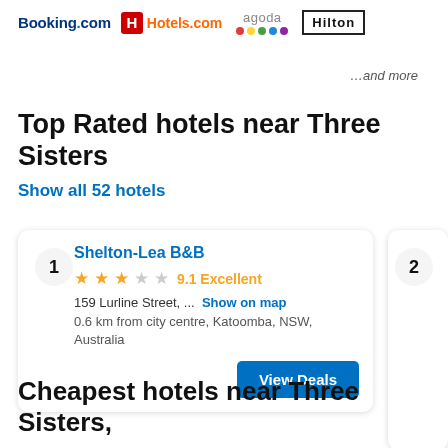[Figure (logo): Partner booking platform logos: Booking.com, Hotels.com, Agoda, Hilton]
…and more
Top Rated hotels near Three Sisters
Show all 52 hotels
1  Shelton-Lea B&B  ★★★☆☆  9.1 Excellent  159 Lurline Street, ...  Show on map  0.6 km from city centre, Katoomba, NSW, Australia  View Deals
2
Cheapest hotels near Three Sisters,